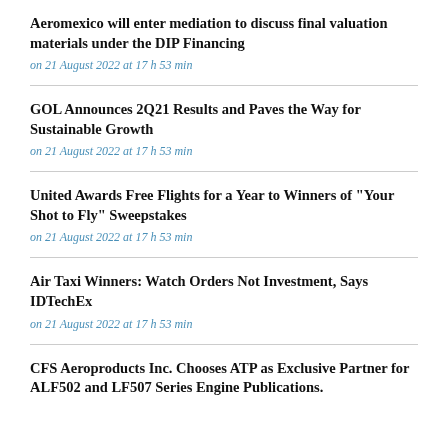Aeromexico will enter mediation to discuss final valuation materials under the DIP Financing
on 21 August 2022 at 17 h 53 min
GOL Announces 2Q21 Results and Paves the Way for Sustainable Growth
on 21 August 2022 at 17 h 53 min
United Awards Free Flights for a Year to Winners of "Your Shot to Fly" Sweepstakes
on 21 August 2022 at 17 h 53 min
Air Taxi Winners: Watch Orders Not Investment, Says IDTechEx
on 21 August 2022 at 17 h 53 min
CFS Aeroproducts Inc. Chooses ATP as Exclusive Partner for ALF502 and LF507 Series Engine Publications.